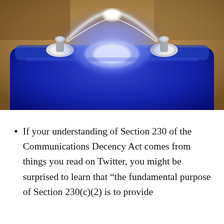[Figure (photo): Close-up photograph of a blue rectangular device (possibly a stun gun or electrical device) with two metal prongs/electrodes and a bright white-blue electrical arc/plasma discharge glowing between them, photographed against a blurred warm background.]
If your understanding of Section 230 of the Communications Decency Act comes from things you read on Twitter, you might be surprised to learn that "the fundamental purpose of Section 230(c)(2) is to provide